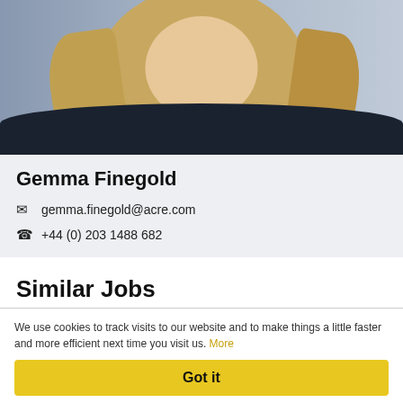[Figure (photo): Portrait photo of Gemma Finegold, a woman with long blonde-brown hair wearing a dark navy top, photographed against a light background.]
Gemma Finegold
gemma.finegold@acre.com
+44 (0) 203 1488 682
Similar Jobs
Investment Associate – $1bn+ Decarbonization Fund
We use cookies to track visits to our website and to make things a little faster and more efficient next time you visit us. More
Got it